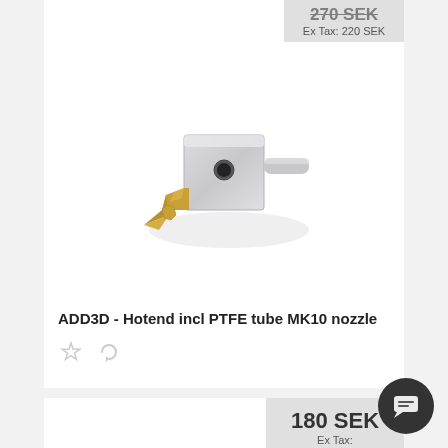[Figure (photo): Product photo of ADD3D hotend with MK10 nozzle - silver aluminum block with golden brass nozzle tip and metal rod]
ADD3D - Hotend incl PTFE tube MK10 nozzle
Ex Tax: 220 SEK
[Figure (photo): Product photo of blue PET tape roll for 3D printing bed adhesion]
180 SEK
Ex Tax: